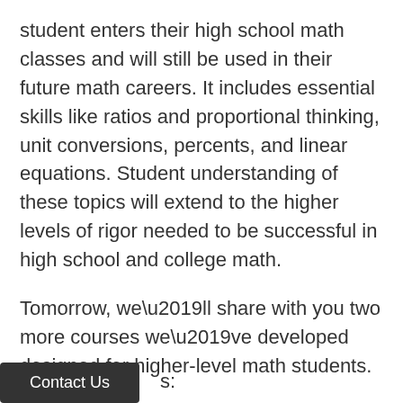student enters their high school math classes and will still be used in their future math careers. It includes essential skills like ratios and proportional thinking, unit conversions, percents, and linear equations. Student understanding of these topics will extend to the higher levels of rigor needed to be successful in high school and college math.
Tomorrow, we’ll share with you two more courses we’ve developed designed for higher-level math students.
Be well,
Matthew Pietrafetta, Ph.D., Founder & CEO
Dear Academic Approach Families and
s: